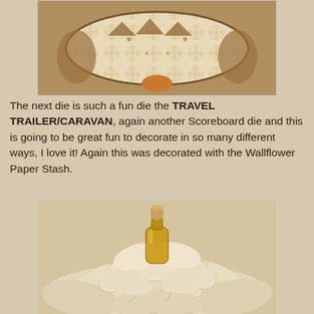[Figure (photo): A decorative travel trailer/caravan die cut decorated with floral patterned Wallflower Paper Stash — cream and brown tones with intricate lace-like designs, viewed from the back/bottom.]
The next die is such a fun die the TRAVEL TRAILER/CARAVAN, again another Scoreboard die and this is going to be great fun to decorate in so many different ways, I love it! Again this was decorated with the Wallflower Paper Stash.
[Figure (photo): A decorative paper flower arrangement with a small glass bottle with cork stopper in the center, surrounded by layered petal-shaped pieces of patterned paper with cursive script designs in cream and brown tones — made using the Wallflower Paper Stash.]